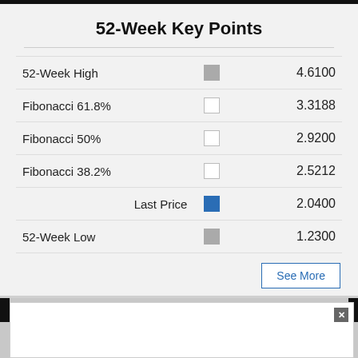52-Week Key Points
|  |  |  |
| --- | --- | --- |
| 52-Week High | [grey square] | 4.6100 |
| Fibonacci 61.8% | [white square] | 3.3188 |
| Fibonacci 50% | [white square] | 2.9200 |
| Fibonacci 38.2% | [white square] | 2.5212 |
| Last Price | [blue square] | 2.0400 |
| 52-Week Low | [grey square] | 1.2300 |
See More